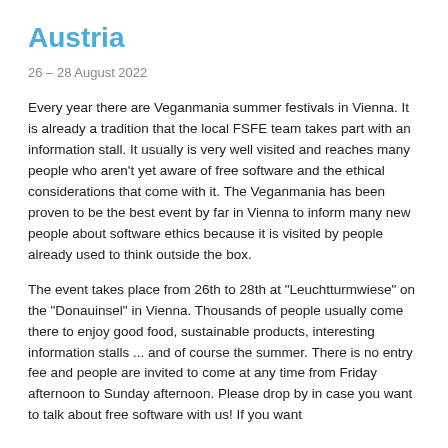Austria
26 – 28 August 2022
Every year there are Veganmania summer festivals in Vienna. It is already a tradition that the local FSFE team takes part with an information stall. It usually is very well visited and reaches many people who aren't yet aware of free software and the ethical considerations that come with it. The Veganmania has been proven to be the best event by far in Vienna to inform many new people about software ethics because it is visited by people already used to think outside the box.
The event takes place from 26th to 28th at "Leuchtturmwiese" on the "Donauinsel" in Vienna. Thousands of people usually come there to enjoy good food, sustainable products, interesting information stalls ... and of course the summer. There is no entry fee and people are invited to come at any time from Friday afternoon to Sunday afternoon. Please drop by in case you want to talk about free software with us! If you want